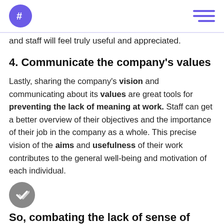# [logo] [hamburger menu]
and staff will feel truly useful and appreciated.
4. Communicate the company's values
Lastly, sharing the company's vision and communicating about its values are great tools for preventing the lack of meaning at work. Staff can get a better overview of their objectives and the importance of their job in the company as a whole. This precise vision of the aims and usefulness of their work contributes to the general well-being and motivation of each individual.
So, combating the lack of sense of